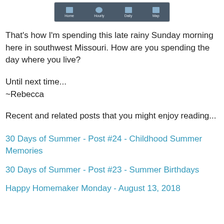[Figure (screenshot): Weather app navigation bar showing Home, Hourly, Daily, Map tabs]
That's how I'm spending this late rainy Sunday morning here in southwest Missouri. How are you spending the day where you live?
Until next time...
~Rebecca
Recent and related posts that you might enjoy reading...
30 Days of Summer - Post #24 - Childhood Summer Memories
30 Days of Summer - Post #23 - Summer Birthdays
Happy Homemaker Monday - August 13, 2018